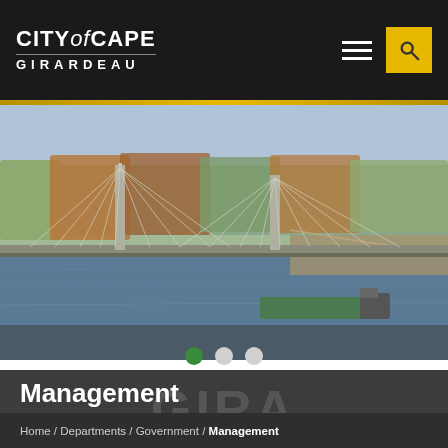CITY of CAPE GIRARDEAU
[Figure (photo): Aerial photograph of a cable-stayed bridge over the Mississippi River in Cape Girardeau, Missouri. A barge is passing beneath the bridge. The city and autumn-colored trees are visible in the background.]
Management
Home / Departments / Government / Management